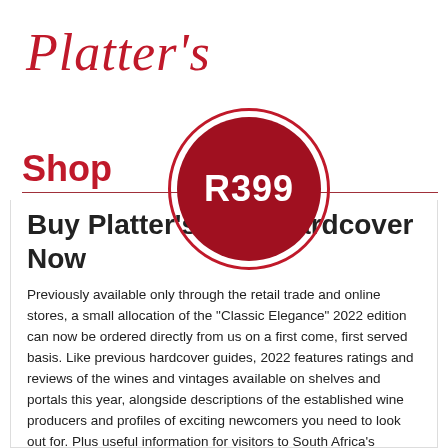[Figure (logo): Platter's cursive logo in red italic script]
Shop
[Figure (infographic): Red circle price badge showing R399]
Buy Platter's 2022 Hardcover Now
Previously available only through the retail trade and online stores, a small allocation of the "Classic Elegance" 2022 edition can now be ordered directly from us on a first come, first served basis. Like previous hardcover guides, 2022 features ratings and reviews of the wines and vintages available on shelves and portals this year, alongside descriptions of the established wine producers and profiles of exciting newcomers you need to look out for. Plus useful information for visitors to South Africa's spectacular